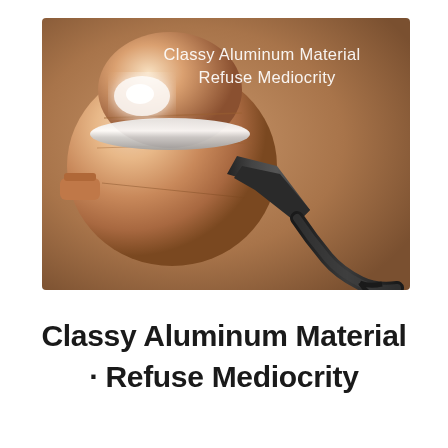[Figure (photo): Close-up product photo of a rose-gold aluminum earphone/earbuds housing on a warm brown background, with white text overlay reading 'Classy Aluminum Material Refuse Mediocrity']
Classy Aluminum Material · Refuse Mediocrity